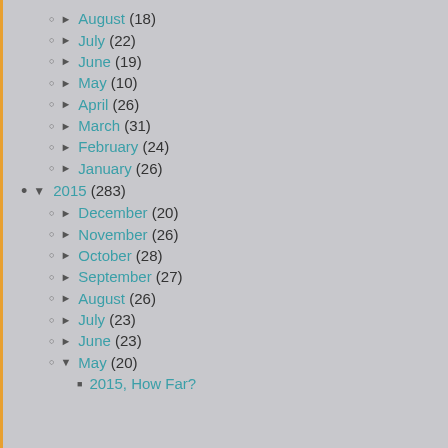► August (18)
► July (22)
► June (19)
► May (10)
► April (26)
► March (31)
► February (24)
► January (26)
▼ 2015 (283)
► December (20)
► November (26)
► October (28)
► September (27)
► August (26)
► July (23)
► June (23)
▼ May (20)
2015, How Far?